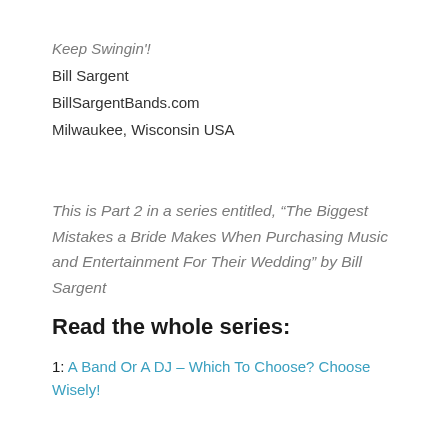Keep Swingin'!
Bill Sargent
BillSargentBands.com
Milwaukee, Wisconsin USA
This is Part 2 in a series entitled, “The Biggest Mistakes a Bride Makes When Purchasing Music and Entertainment For Their Wedding” by Bill Sargent
Read the whole series:
1: A Band Or A DJ – Which To Choose? Choose Wisely!